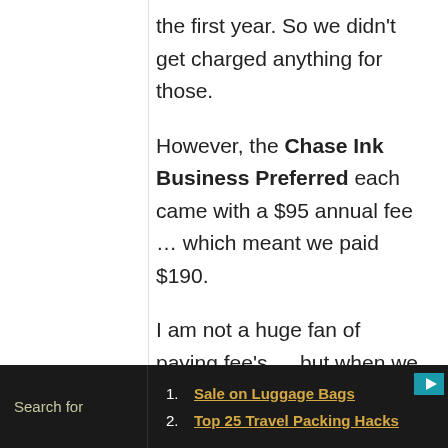the first year. So we didn't get charged anything for those.
However, the Chase Ink Business Preferred each came with a $95 annual fee … which meant we paid $190.
I am not a huge fan of paying fee's … but when we earn over $3,000+ in future travel … I think $190 is worth it!
Search for
1. Sale on Luggage Bags
2. Top 25 Travel Packing Hacks